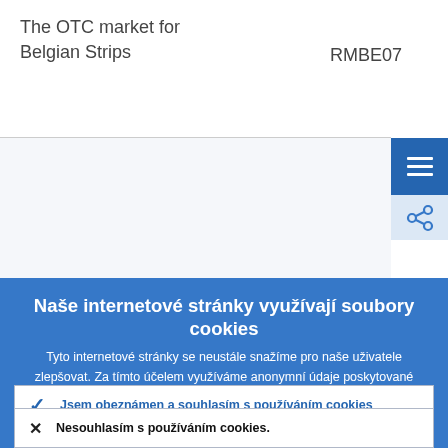| Market | Code |
| --- | --- |
| The OTC market for Belgian Strips | RMBE07 |
| Euronext Growth Brussels | RMBE10 |
Naše internetové stránky využívají soubory cookies
Tyto internetové stránky se neustále snažíme pro naše uživatele zlepšovat. Za tímto účelem využíváme anonymní údaje poskytované cookies.
› Více informací o tom, jak využíváme cookies
✓ Jsem obeznámen a souhlasím s používáním cookies
✗ Nesouhlasím s používáním cookies.